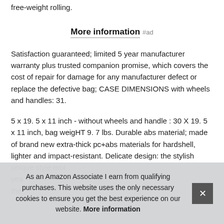free-weight rolling.
More information #ad
Satisfaction guaranteed; limited 5 year manufacturer warranty plus trusted companion promise, which covers the cost of repair for damage for any manufacturer defect or replace the defective bag; CASE DIMENSIONS with wheels and handles: 31.
5 x 19. 5 x 11 inch - without wheels and handle : 30 X 19. 5 x 11 inch, bag weigHT 9. 7 lbs. Durable abs material; made of brand new extra-thick pc+abs materials for hardshell, lighter and impact-resistant. Delicate design: the stylish unique style mot year the
As an Amazon Associate I earn from qualifying purchases. This website uses the only necessary cookies to ensure you get the best experience on our website. More information